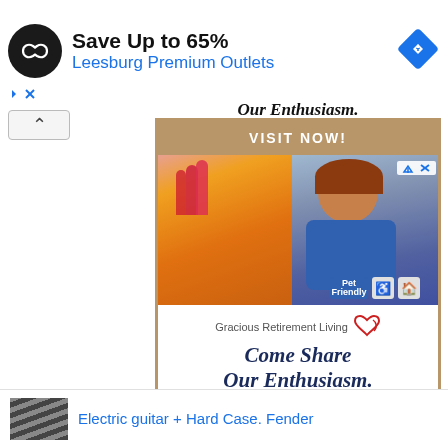[Figure (screenshot): Top banner advertisement: circular black logo with infinity-like symbol, headline 'Save Up to 65%', subline 'Leesburg Premium Outlets', blue diamond navigation icon on right]
[Figure (screenshot): Gracious Retirement Living advertisement box with gold border. Header bar 'VISIT NOW!', photo of smiling older woman painting, body text 'Gracious Retirement Living Come Share Our Enthusiasm.' with red heart icon, footer bar 'VISIT NOW!']
Electric guitar + Hard Case. Fender